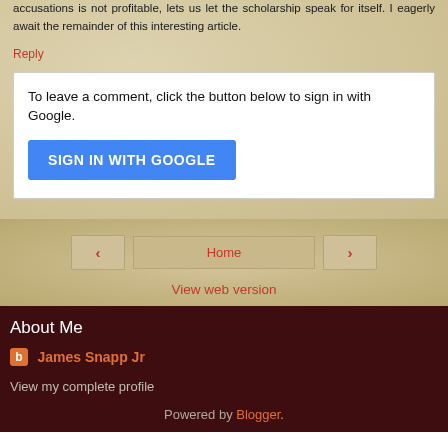accusations is not profitable, lets us let the scholarship speak for itself. I eagerly await the remainder of this interesting article.
Reply
To leave a comment, click the button below to sign in with Google.
SIGN IN WITH GOOGLE
Home
View web version
About Me
James Snapp Jr
View my complete profile
Powered by Blogger.